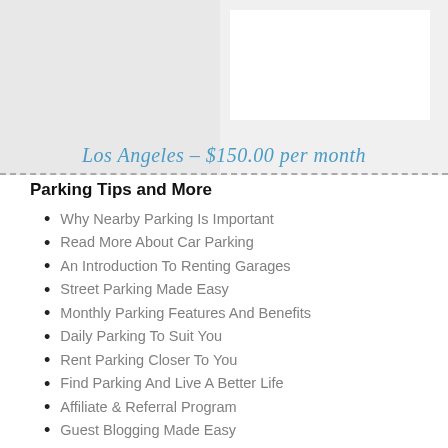[Figure (photo): Parking-related image with gray background and a white rectangle overlay in the upper right area.]
Los Angeles – $150.00 per month
Parking Tips and More
Why Nearby Parking Is Important
Read More About Car Parking
An Introduction To Renting Garages
Street Parking Made Easy
Monthly Parking Features And Benefits
Daily Parking To Suit You
Rent Parking Closer To You
Find Parking And Live A Better Life
Affiliate & Referral Program
Guest Blogging Made Easy
Welcome Offer Promo Code
Your Free Happy Birthday Gift
Boat Spaces, Marinas And More
Camping, Caravan And Rv Spaces
Find Parking, Garages And Car Spaces
7 Ways To Unbeatable Parking Prices!
5 Driver Benefits Of Shared Parking